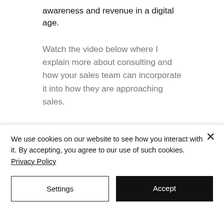awareness and revenue in a digital age.
Watch the video below where I explain more about consulting and how your sales team can incorporate it into how they are approaching sales.
We use cookies on our website to see how you interact with it. By accepting, you agree to our use of such cookies. Privacy Policy